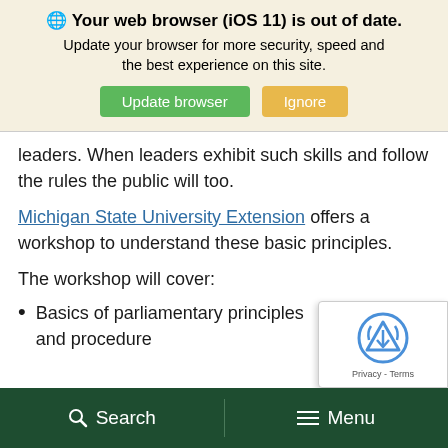[Figure (screenshot): Browser update warning banner with globe icon, bold text 'Your web browser (iOS 11) is out of date.', subtitle text, and two buttons: green 'Update browser' and tan 'Ignore']
leaders. When leaders exhibit such skills and follow the rules the public will too.
Michigan State University Extension offers a workshop to understand these basic principles.
The workshop will cover:
Basics of parliamentary principles and procedure
[Figure (screenshot): reCAPTCHA widget overlay in lower right corner showing reCAPTCHA logo and Privacy - Terms links]
Search   Menu